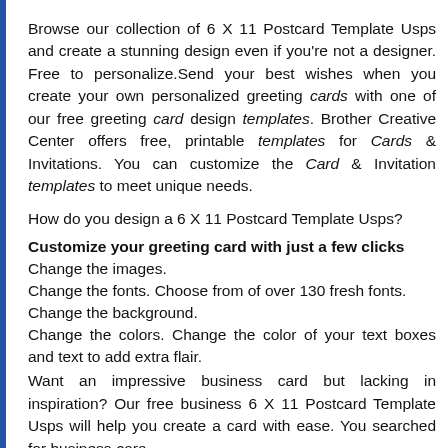Browse our collection of 6 X 11 Postcard Template Usps and create a stunning design even if you're not a designer. Free to personalize.Send your best wishes when you create your own personalized greeting cards with one of our free greeting card design templates. Brother Creative Center offers free, printable templates for Cards & Invitations. You can customize the Card & Invitation templates to meet unique needs.
How do you design a 6 X 11 Postcard Template Usps?
Customize your greeting card with just a few clicks
Change the images.
Change the fonts. Choose from of over 130 fresh fonts.
Change the background.
Change the colors. Change the color of your text boxes and text to add extra flair.
Want an impressive business card but lacking in inspiration? Our free business 6 X 11 Postcard Template Usps will help you create a card with ease. You searched for business cara...